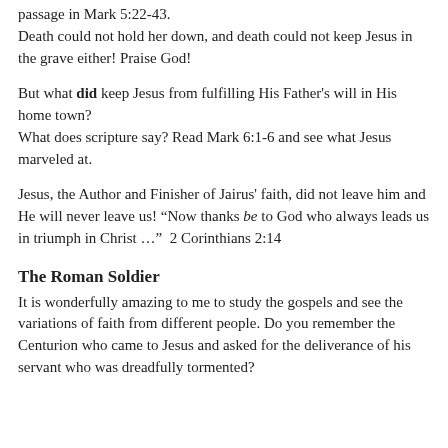passage in Mark 5:22-43. Death could not hold her down, and death could not keep Jesus in the grave either! Praise God!
But what did keep Jesus from fulfilling His Father's will in His home town? What does scripture say? Read Mark 6:1-6 and see what Jesus marveled at.
Jesus, the Author and Finisher of Jairus' faith, did not leave him and He will never leave us! “Now thanks be to God who always leads us in triumph in Christ …”  2 Corinthians 2:14
The Roman Soldier
It is wonderfully amazing to me to study the gospels and see the variations of faith from different people. Do you remember the Centurion who came to Jesus and asked for the deliverance of his servant who was dreadfully tormented?